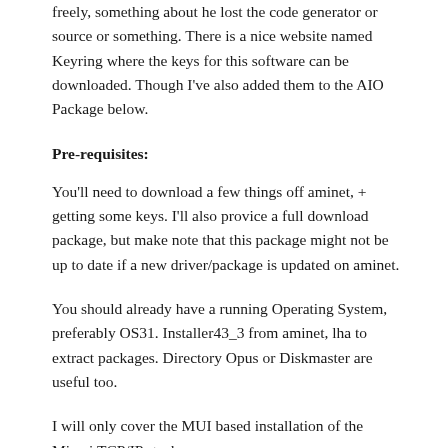freely, something about he lost the code generator or source or something. There is a nice website named Keyring where the keys for this software can be downloaded. Though I've also added them to the AIO Package below.
Pre-requisites:
You'll need to download a few things off aminet, + getting some keys. I'll also provice a full download package, but make note that this package might not be up to date if a new driver/package is updated on aminet.
You should already have a running Operating System, preferably OS31. Installer43_3 from aminet, lha to extract packages. Directory Opus or Diskmaster are useful too.
I will only cover the MUI based installation of the Miami TCP/IP stack.
So do a search on http://aminet.net for the following files (do remember I've compiled a full package with everything